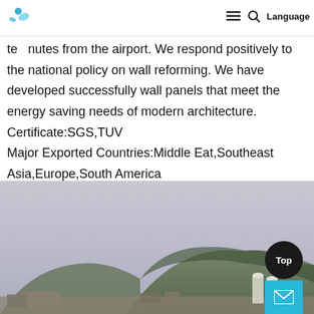te…nutes from the airport. Language (navigation bar with logo, menu, search, language)
te nutes from the airport. We respond positively to the national policy on wall reforming. We have developed successfully wall panels that meet the energy saving needs of modern architecture. Certificate:SGS,TUV
Major Exported Countries:Middle Eat,Southeast Asia,Europe,South America
[Figure (photo): Outdoor industrial facility with a hazy sky, hills with trees in the background, and industrial structures/silos visible at the bottom of the image.]